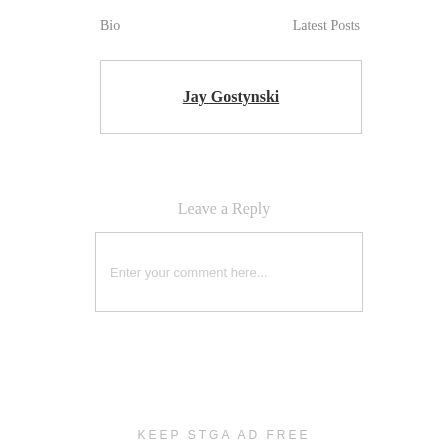Bio    Latest Posts
Jay Gostynski
Leave a Reply
Enter your comment here...
KEEP STGA AD FREE